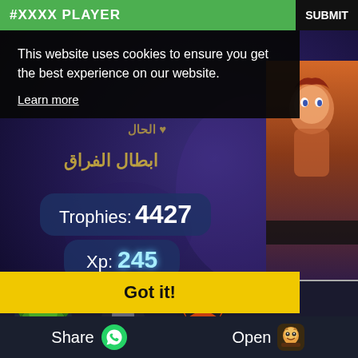#XXXX PLAYER
SUBMIT
This website uses cookies to ensure you get the best experience on our website.
Learn more
Got it!
[Figure (screenshot): Game screenshot showing Arabic text overlay, Trophies: 4427, Xp: 245, character rows with level badges, and bottom navigation bar with Share and Open buttons]
Trophies: 4427
Xp: 245
Share
Open